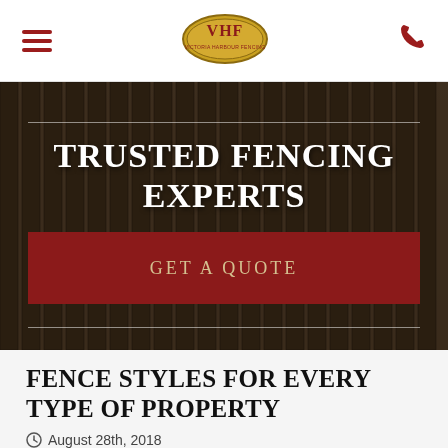[Figure (logo): VHF logo in gold oval with red text]
TRUSTED FENCING EXPERTS
GET A QUOTE
FENCE STYLES FOR EVERY TYPE OF PROPERTY
August 28th, 2018
Take a moment, and picture a fence. Is the fence you envision a chain-link one? Maybe it's of the wooden variety, either tightly locked and linked together or with slats of spaces in between. The style might play into how you picture a fence; maybe it's a